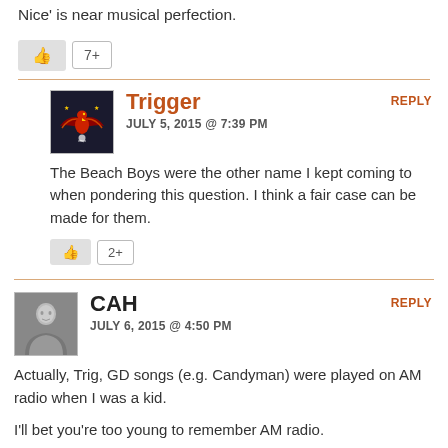Nice' is near musical perfection.
7+
REPLY
Trigger
JULY 5, 2015 @ 7:39 PM
The Beach Boys were the other name I kept coming to when pondering this question. I think a fair case can be made for them.
2+
REPLY
CAH
JULY 6, 2015 @ 4:50 PM
Actually, Trig, GD songs (e.g. Candyman) were played on AM radio when I was a kid.

I'll bet you're too young to remember AM radio.

And then they lost radio playtime and became an afterthought to the musical scene until Touch of Grey and then Jerry's death in 1995.